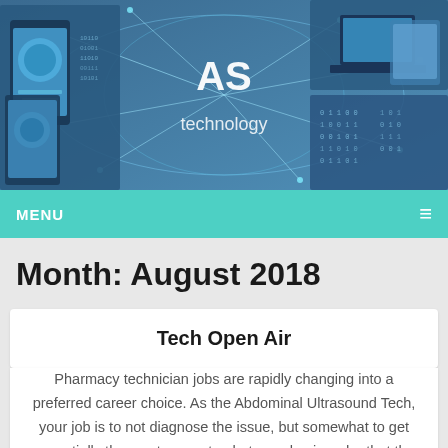[Figure (illustration): Website header banner with technology-themed imagery showing smartphones, laptops, world map network connections, blue digital background with text 'AS' and 'technology']
MENU ☰
Month: August 2018
Tech Open Air
Pharmacy technician jobs are rapidly changing into a preferred career choice. As the Abdominal Ultrasound Tech, your job is to not diagnose the issue, but somewhat to get essentially the most accurate photographs, in order that the Radiologist Doctor can interpret and officially diagnose the problem. One